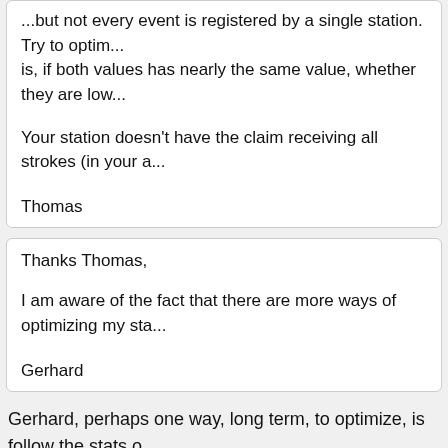...but not every event is registered by a single station. Try to optimize... is, if both values has nearly the same value, whether they are low...
Your station doesn't have the claim receiving all strokes (in your a...
Thomas
Thanks Thomas,
I am aware of the fact that there are more ways of optimizing my sta...
Gerhard
Gerhard, perhaps one way, long term, to optimize, is follow the stats o... 'deviation'... it might seem to me that I'm providing optimized data the...
[Figure (infographic): Sferics US logo (stylized lightning bolt with circular green S) alongside a weather station banner reading 'Frankfort Ky. Weather / TwinHollies W' with blue background showing Temp: 71.8°, Humidity: 79.0%, Heat Idx: 75.9°, date 8/31/22 @ 10:28am, Wind: Calm, Gust: 1.6 mph]